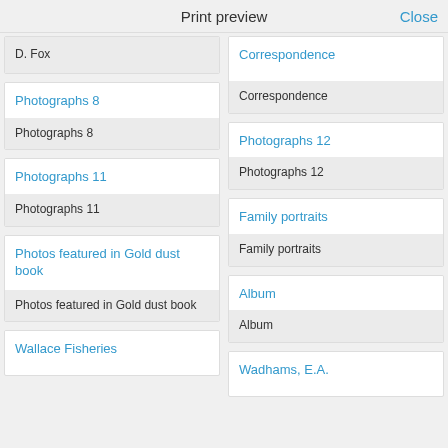Print preview
Close
D. Fox
Correspondence
Correspondence
Photographs 8
Photographs 8
Photographs 12
Photographs 12
Photographs 11
Photographs 11
Family portraits
Family portraits
Photos featured in Gold dust book
Photos featured in Gold dust book
Album
Album
Wallace Fisheries
Wadhams, E.A.